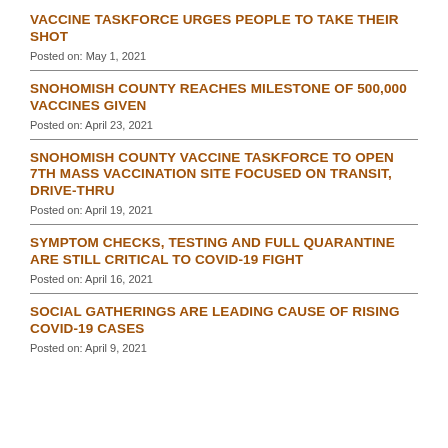VACCINE TASKFORCE URGES PEOPLE TO TAKE THEIR SHOT
Posted on: May 1, 2021
SNOHOMISH COUNTY REACHES MILESTONE OF 500,000 VACCINES GIVEN
Posted on: April 23, 2021
SNOHOMISH COUNTY VACCINE TASKFORCE TO OPEN 7TH MASS VACCINATION SITE FOCUSED ON TRANSIT, DRIVE-THRU
Posted on: April 19, 2021
SYMPTOM CHECKS, TESTING AND FULL QUARANTINE ARE STILL CRITICAL TO COVID-19 FIGHT
Posted on: April 16, 2021
SOCIAL GATHERINGS ARE LEADING CAUSE OF RISING COVID-19 CASES
Posted on: April 9, 2021